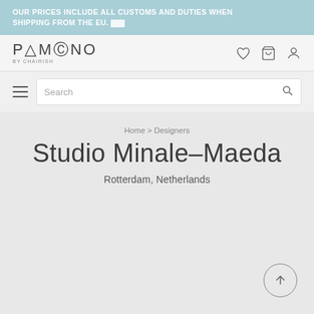OUR PRICES INCLUDE ALL CUSTOMS AND DUTIES WHEN SHIPPING FROM THE EU.
[Figure (logo): Pamono by Chairish logo with navigation icons (heart, cart, user)]
Search
Home > Designers
Studio Minale-Maeda
Rotterdam, Netherlands